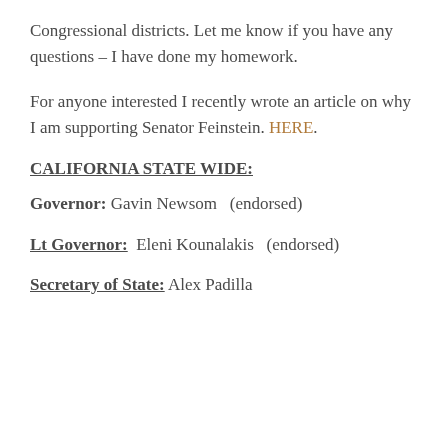Congressional districts. Let me know if you have any questions – I have done my homework.
For anyone interested I recently wrote an article on why I am supporting Senator Feinstein. HERE.
CALIFORNIA STATE WIDE:
Governor: Gavin Newsom   (endorsed)
Lt Governor:  Eleni Kounalakis   (endorsed)
Secretary of State: Alex Padilla